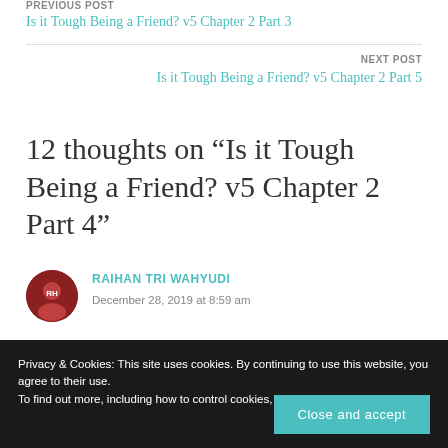PREVIOUS POST
Is it Tough Being a Friend? v5 Chapter 2 Part 3
NEXT POST
Is it Tough Being a Friend? v5 Chapter 2 Part 5
12 thoughts on “Is it Tough Being a Friend? v5 Chapter 2 Part 4”
RAIHAN TRI WAHYUDI
December 28, 2019 at 8:59 am
Privacy & Cookies: This site uses cookies. By continuing to use this website, you agree to their use.
To find out more, including how to control cookies, see here: Cookie Policy
Close and accept